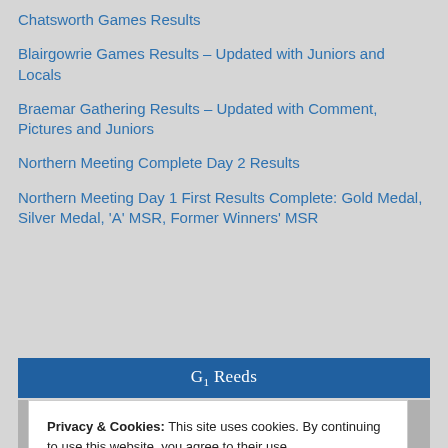Chatsworth Games Results
Blairgowrie Games Results – Updated with Juniors and Locals
Braemar Gathering Results – Updated with Comment, Pictures and Juniors
Northern Meeting Complete Day 2 Results
Northern Meeting Day 1 First Results Complete: Gold Medal, Silver Medal, 'A' MSR, Former Winners' MSR
G1 Reeds
Privacy & Cookies: This site uses cookies. By continuing to use this website, you agree to their use.
To find out more, including how to control cookies, see here: Cookie Policy
Close and accept